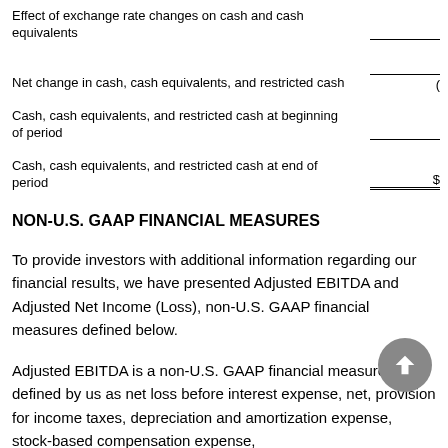Effect of exchange rate changes on cash and cash equivalents
Net change in cash, cash equivalents, and restricted cash
Cash, cash equivalents, and restricted cash at beginning of period
Cash, cash equivalents, and restricted cash at end of period
NON-U.S. GAAP FINANCIAL MEASURES
To provide investors with additional information regarding our financial results, we have presented Adjusted EBITDA and Adjusted Net Income (Loss), non-U.S. GAAP financial measures defined below.
Adjusted EBITDA is a non-U.S. GAAP financial measure defined by us as net loss before interest expense, net, provision for income taxes, depreciation and amortization expense, stock-based compensation expense,